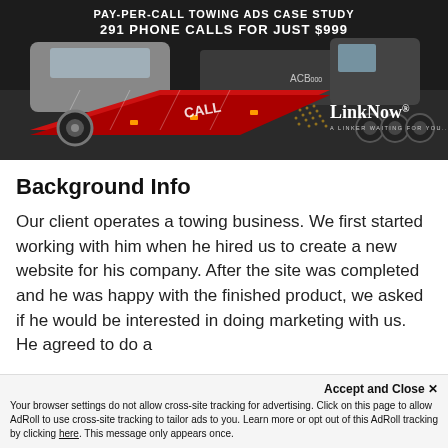[Figure (photo): Advertisement banner image showing a tow truck with a red flatbed ramp loading a silver SUV, with overlaid text 'PAY-PER-CALL TOWING ADS CASE STUDY' and '291 PHONE CALLS FOR JUST $999', and a LinkNow logo in the lower right corner.]
Background Info
Our client operates a towing business. We first started working with him when he hired us to create a new website for his company. After the site was completed and he was happy with the finished product, we asked if he would be interested in doing marketing with us. He agreed to do a consultation but was skeptical. He had...
Accept and Close ×
Your browser settings do not allow cross-site tracking for advertising. Click on this page to allow AdRoll to use cross-site tracking to tailor ads to you. Learn more or opt out of this AdRoll tracking by clicking here. This message only appears once.